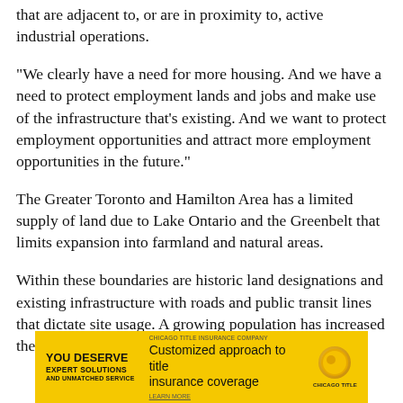that are adjacent to, or are in proximity to, active industrial operations.
“We clearly have a need for more housing. And we have a need to protect employment lands and jobs and make use of the infrastructure that’s existing. And we want to protect employment opportunities and attract more employment opportunities in the future.”
The Greater Toronto and Hamilton Area has a limited supply of land due to Lake Ontario and the Greenbelt that limits expansion into farmland and natural areas.
Within these boundaries are historic land designations and existing infrastructure with roads and public transit lines that dictate site usage. A growing population has increased the potential for conflict.
[Figure (infographic): Yellow advertisement banner for Chicago Title Insurance Company: 'YOU DESERVE EXPERT SOLUTIONS AND UNMATCHED SERVICE' on the left, 'Customized approach to title insurance coverage' in the middle, and a gold circle logo with 'CHICAGO TITLE' text on the right.]